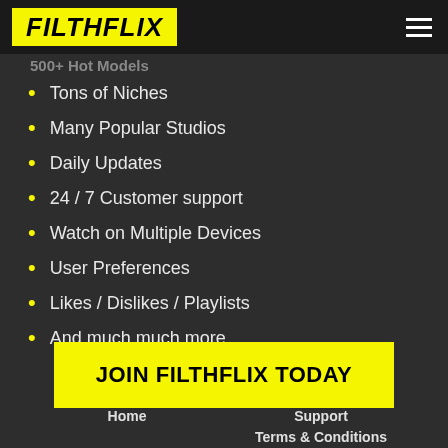FILTHFLIX
500+ Hot Models
Tons of Niches
Many Popular Studios
Daily Updates
24 / 7 Customer support
Watch on Multiple Devices
User Preferences
Likes / Dislikes / Playlists
And much much more
JOIN FILTHFLIX TODAY
Home | Support | Terms & Conditions